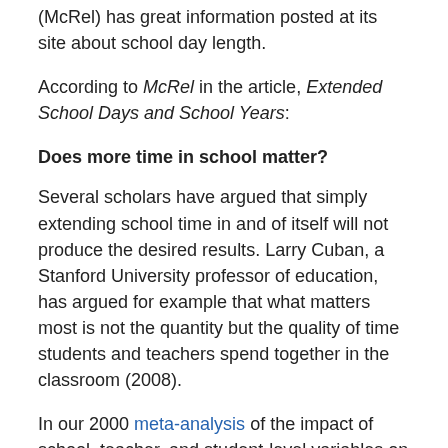(McRel) has great information posted at its site about school day length.
According to McRel in the article, Extended School Days and School Years:
Does more time in school matter?
Several scholars have argued that simply extending school time in and of itself will not produce the desired results. Larry Cuban, a Stanford University professor of education, has argued for example that what matters most is not the quantity but the quality of time students and teachers spend together in the classroom (2008).
In our 2000 meta-analysis of the impact of school, teacher, and student-level variables on achievement, McREL concluded that student achievement can be strongly